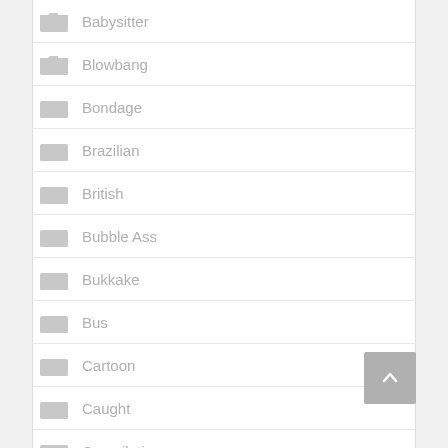Babysitter
Blowbang
Bondage
Brazilian
British
Bubble Ass
Bukkake
Bus
Cartoon
Caught
Compilation
Couch